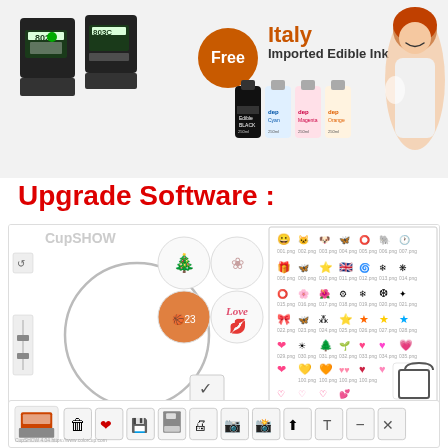[Figure (infographic): Product banner showing ink cartridges labeled 802 and 803C on the left, a circular orange badge with 'Free' text, text 'Italy Imported Edible Ink' in orange/brown, four ink bottles (black, cyan, magenta, orange), and a woman laughing on the right.]
Upgrade Software :
[Figure (screenshot): CupSHOW software interface showing left toolbar with tool buttons, a circular canvas area in the center-left, preview thumbnails with circle designs (tree, floral, basketball player, 'Love'), and a sticker/clip-art grid panel on the right with multiple rows of small icons including hearts, stars, bows, and other decorative elements. Bottom toolbar shows printer icon, trash, heart, save, print, camera, upload, text, minus, and close buttons. Footer text: CupSHOW 4.04 https://www.colorcup.com]